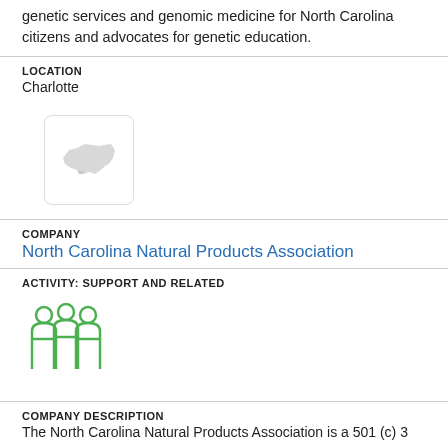genetic services and genomic medicine for North Carolina citizens and advocates for genetic education.
LOCATION
Charlotte
[Figure (logo): Logo placeholder with North Carolina state outline silhouette in light gray, rounded rectangle border]
COMPANY
North Carolina Natural Products Association
ACTIVITY: SUPPORT AND RELATED
[Figure (illustration): Green icon of three people silhouettes standing together]
COMPANY DESCRIPTION
The North Carolina Natural Products Association is a 501 (c) 3